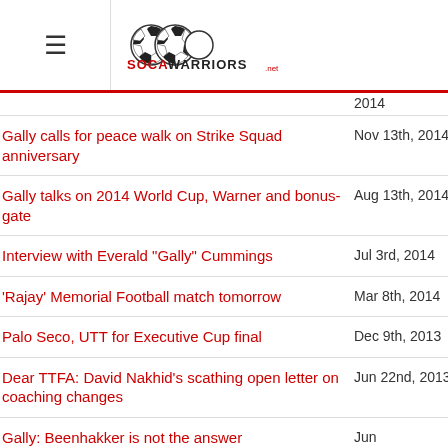SocaWarriors.net
2014
Gally calls for peace walk on Strike Squad anniversary | Nov 13th, 2014
Gally talks on 2014 World Cup, Warner and bonus-gate | Aug 13th, 2014
Interview with Everald "Gally" Cummings | Jul 3rd, 2014
'Rajay' Memorial Football match tomorrow | Mar 8th, 2014
Palo Seco, UTT for Executive Cup final | Dec 9th, 2013
Dear TTFA: David Nakhid's scathing open letter on coaching changes | Jun 22nd, 2013
Gally: Beenhakker is not the answer | Jun